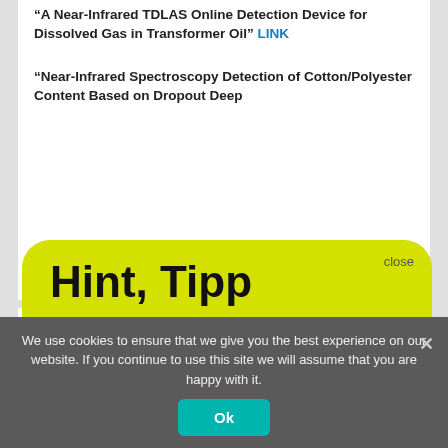“A Near-Infrared TDLAS Online Detection Device for Dissolved Gas in Transformer Oil” LINK
“Near-Infrared Spectroscopy Detection of Cotton/Polyester Content Based on Dropout Deep
[Figure (screenshot): Yellow rounded popup with heading 'Hint, Tipp' and text about free NIR-Predictor Software, with a 'Show me' link and a close button]
We use cookies to ensure that we give you the best experience on our website. If you continue to use this site we will assume that you are happy with it.
Co Ores” LINK
Ok